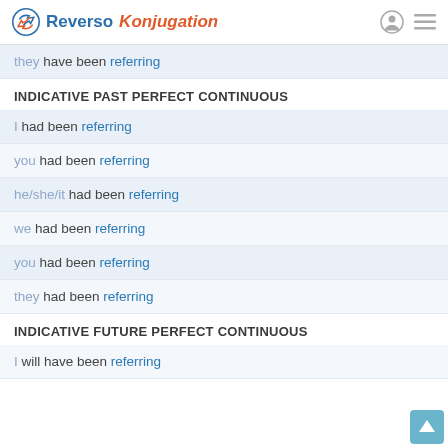Reverso Konjugation
they have been referring
INDICATIVE PAST PERFECT CONTINUOUS
I had been referring
you had been referring
he/she/it had been referring
we had been referring
you had been referring
they had been referring
INDICATIVE FUTURE PERFECT CONTINUOUS
I will have been referring